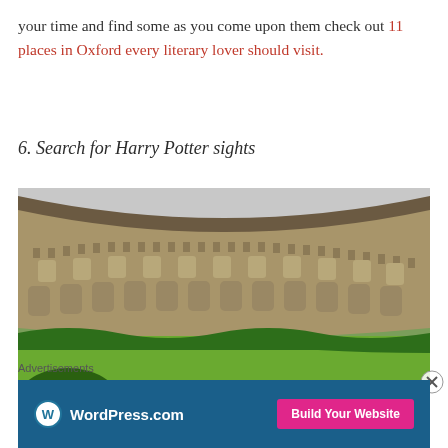your time and find some as you come upon them check out 11 places in Oxford every literary lover should visit.
6. Search for Harry Potter sights
[Figure (photo): A photograph of an Oxford college cloister — a curved stone medieval building with multiple arched windows, a crenellated parapet, and a lush green lawn in the foreground with leafy green plants and hedges.]
Advertisements
[Figure (other): WordPress.com advertisement banner with blue background showing the WordPress logo and 'WordPress.com' text on the left and a pink 'Build Your Website' button on the right.]